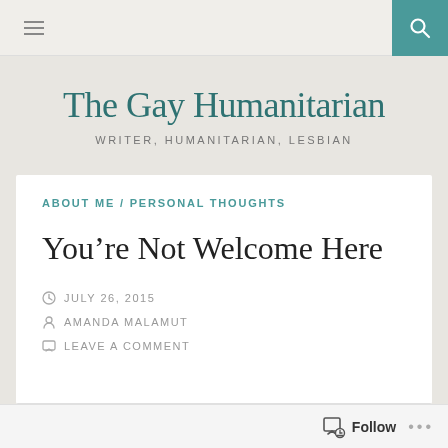≡  [search icon]
The Gay Humanitarian
WRITER, HUMANITARIAN, LESBIAN
ABOUT ME / PERSONAL THOUGHTS
You're Not Welcome Here
JULY 26, 2015
AMANDA MALAMUT
LEAVE A COMMENT
Follow  ···